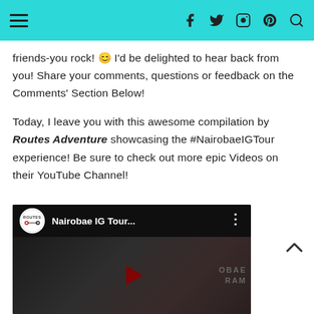Navigation header with hamburger menu and social icons (facebook, twitter, instagram, pinterest, search)
friends-you rock! 😊 I'd be delighted to hear back from you! Share your comments, questions or feedback on the Comments' Section Below!
Today, I leave you with this awesome compilation by Routes Adventure showcasing the #NairobaeIGTour experience! Be sure to check out more epic Videos on their YouTube Channel!
[Figure (screenshot): YouTube video thumbnail showing 'Nairobae IG Tour...' by Routes Adventure channel, with play button visible and partial background image]